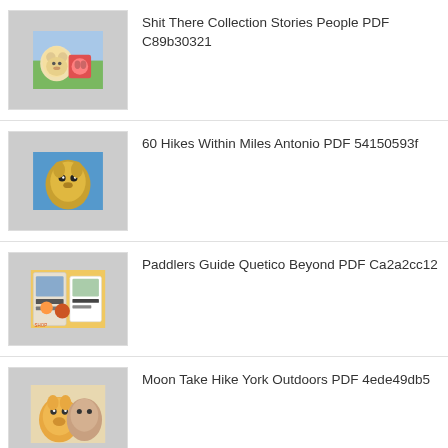Shit There Collection Stories People PDF C89b30321
60 Hikes Within Miles Antonio PDF 54150593f
Paddlers Guide Quetico Beyond PDF Ca2a2cc12
Moon Take Hike York Outdoors PDF 4ede49db5
Hiking Colorado 2nd Colorados Adventures PDF 41857378f
Way Out True Story Survival PDF 2711e5fe4